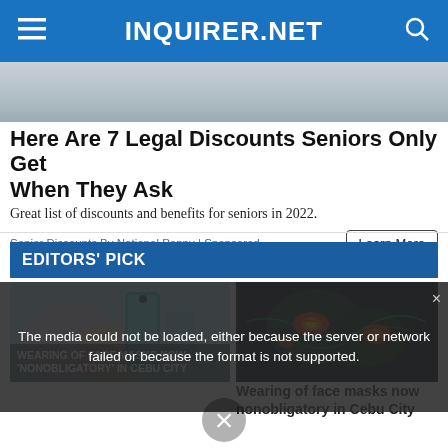INQUIRER.NET
[Figure (photo): Hero image area - grayish background photo at top]
Here Are 7 Legal Discounts Seniors Only Get When They Ask
Great list of discounts and benefits for seniors in 2022.
Senior Discounts By National Penny | Sponsored
Learn More
EDITORS' PICK
[Figure (photo): Colorful smartphone promo image with pastel colors]
[Figure (photo): Weather radar map showing storm systems with heat-map colors]
The media could not be loaded, either because the server or network failed or because the format is not supported.
Wearing of face masks now nonobligatory in Cebu City
WEARING OF FACE MASKS NOW 'NONOBLIGATORY' IN CEBU CITY
[Figure (screenshot): X close button overlay at bottom]